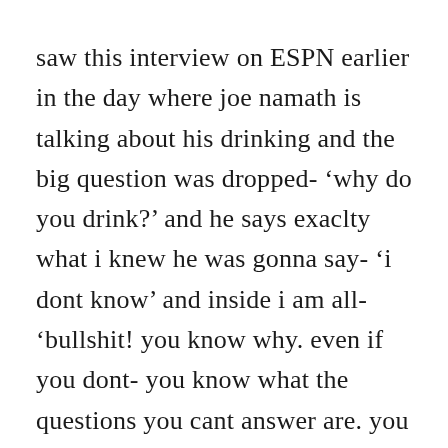saw this interview on ESPN earlier in the day where joe namath is talking about his drinking and the big question was dropped- ‘why do you drink?’ and he says exaclty what i knew he was gonna say- ‘i dont know’ and inside i am all- ‘bullshit! you know why. even if you dont- you know what the questions you cant answer are. you just dont want to say em cuz you got no answers.’